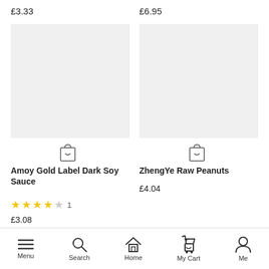£3.33
£6.95
[Figure (other): Product image placeholder (grey box) for Amoy Gold Label Dark Soy Sauce]
[Figure (other): Product image placeholder (grey box) for ZhengYe Raw Peanuts]
Amoy Gold Label Dark Soy Sauce
ZhengYe Raw Peanuts
★★★★  1
£4.04
£3.08
Menu  Search  Home  My Cart  Me